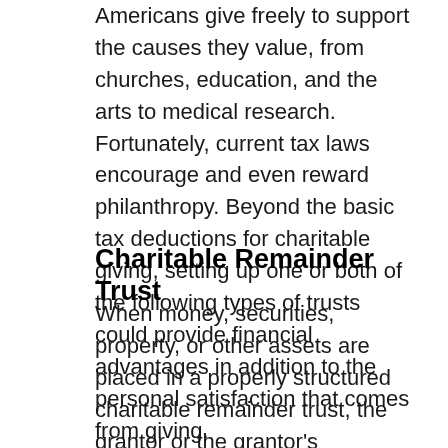Americans give freely to support the causes they value, from churches, education, and the arts to medical research. Fortunately, current tax laws encourage and even reward philanthropy. Beyond the basic tax deductions for charitable giving, setting up one or both of the following types of trusts could provide financial advantages in addition to the personal satisfaction that comes from giving.
Charitable Remainder Trust
When money, securities, property, or other assets are placed in a properly structured charitable remainder trust, the grantor or the grantor's beneficiaries receive payment of a specified amount at least annually. When the